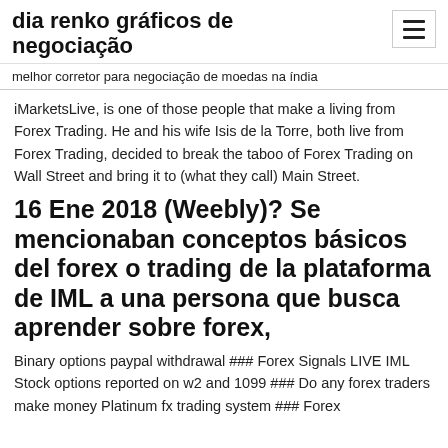dia renko gráficos de negociação
melhor corretor para negociação de moedas na índia
iMarketsLive, is one of those people that make a living from Forex Trading. He and his wife Isis de la Torre, both live from Forex Trading, decided to break the taboo of Forex Trading on Wall Street and bring it to (what they call) Main Street.
16 Ene 2018 (Weebly)? Se mencionaban conceptos básicos del forex o trading de la plataforma de IML a una persona que busca aprender sobre forex,
Binary options paypal withdrawal ### Forex Signals LIVE IML Stock options reported on w2 and 1099 ### Do any forex traders make money Platinum fx trading system ### Forex